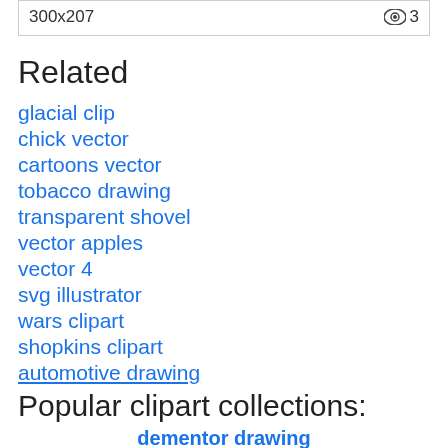300x207   👁 3
Related
glacial clip
chick vector
cartoons vector
tobacco drawing
transparent shovel
vector apples
vector 4
svg illustrator
wars clipart
shopkins clipart
automotive drawing
Popular clipart collections:
dementor drawing